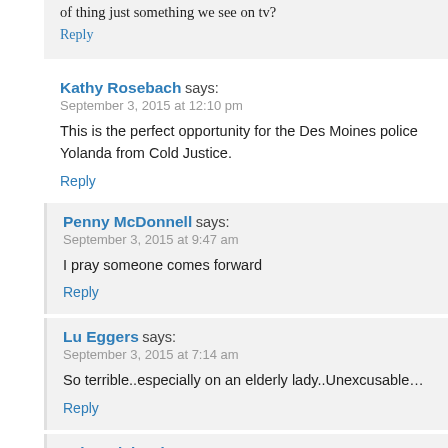of thing just something we see on tv?
Reply
Kathy Rosebach says:
September 3, 2015 at 12:10 pm
This is the perfect opportunity for the Des Moines police Yolanda from Cold Justice.
Reply
Penny McDonnell says:
September 3, 2015 at 9:47 am
I pray someone comes forward
Reply
Lu Eggers says:
September 3, 2015 at 7:14 am
So terrible..especially on an elderly lady..Unexcusable...
Reply
Brian Richardson says: